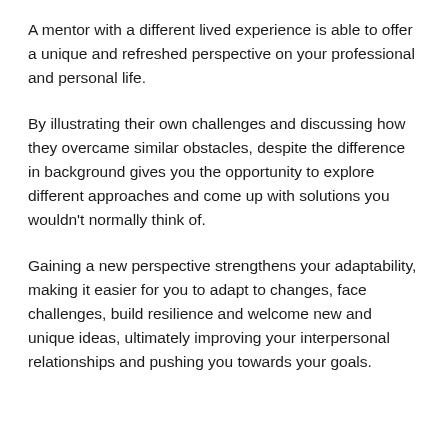A mentor with a different lived experience is able to offer a unique and refreshed perspective on your professional and personal life.
By illustrating their own challenges and discussing how they overcame similar obstacles, despite the difference in background gives you the opportunity to explore different approaches and come up with solutions you wouldn't normally think of.
Gaining a new perspective strengthens your adaptability, making it easier for you to adapt to changes, face challenges, build resilience and welcome new and unique ideas, ultimately improving your interpersonal relationships and pushing you towards your goals.